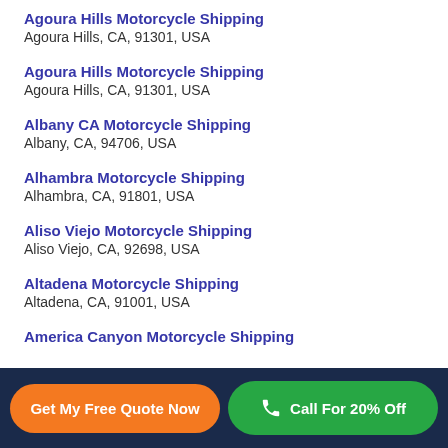Agoura Hills Motorcycle Shipping
Agoura Hills, CA, 91301, USA
Agoura Hills Motorcycle Shipping
Agoura Hills, CA, 91301, USA
Albany CA Motorcycle Shipping
Albany, CA, 94706, USA
Alhambra Motorcycle Shipping
Alhambra, CA, 91801, USA
Aliso Viejo Motorcycle Shipping
Aliso Viejo, CA, 92698, USA
Altadena Motorcycle Shipping
Altadena, CA, 91001, USA
America Canyon Motorcycle Shipping
Get My Free Quote Now
Call For 20% Off